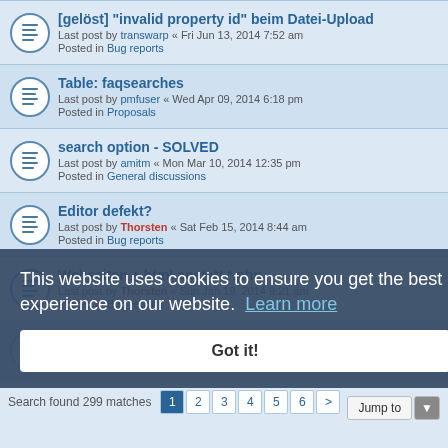[gelöst] "invalid property id" beim Datei-Upload
Last post by transwarp « Fri Jun 13, 2014 7:52 am
Posted in Bug reports
Table: faqsearches
Last post by pmfuser « Wed Apr 09, 2014 6:18 pm
Posted in Proposals
search option - SOLVED
Last post by amitm « Mon Mar 10, 2014 12:35 pm
Posted in General discussions
Editor defekt?
Last post by Thorsten « Sat Feb 15, 2014 8:44 am
Posted in Bug reports
Webseiten +.html anstatt *.php
Last post by Thorsten « Sun Jan 19, 2014 9:21 am
Posted in Bug reports
Pdf Export TOC only include selected category
Last post by Thorsten « Thu Dec 19, 2013 6:26 pm
This website uses cookies to ensure you get the best experience on our website. Learn more
Got it!
Search found 299 matches  1  2  3  4  5  6  >